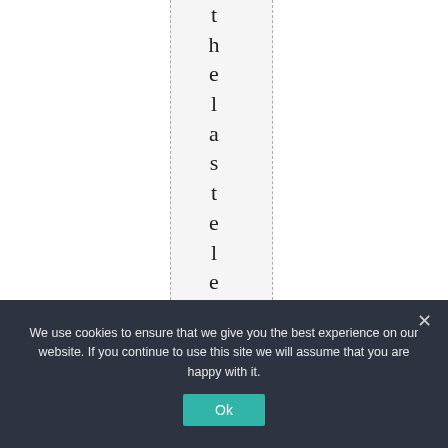thelastelectionthe
We use cookies to ensure that we give you the best experience on our website. If you continue to use this site we will assume that you are happy with it.